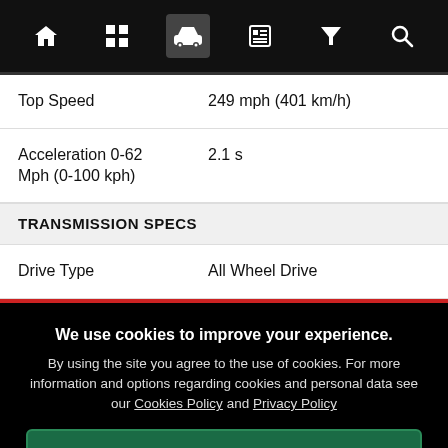[Figure (screenshot): Navigation bar with icons: home, grid/apps, car (active/highlighted), newspaper, filter/cocktail, search]
| Top Speed | 249 mph (401 km/h) |
| Acceleration 0-62 Mph (0-100 kph) | 2.1 s |
TRANSMISSION SPECS
| Drive Type | All Wheel Drive |
We use cookies to improve your experience. By using the site you agree to the use of cookies. For more information and options regarding cookies and personal data see our Cookies Policy and Privacy Policy
Accept cookies & close
California residents: Do Not Sell My Info